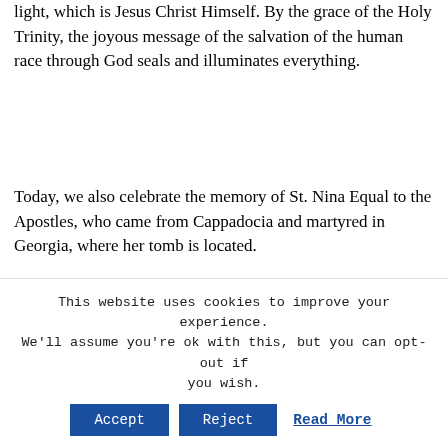light, which is Jesus Christ Himself. By the grace of the Holy Trinity, the joyous message of the salvation of the human race through God seals and illuminates everything.
Today, we also celebrate the memory of St. Nina Equal to the Apostles, who came from Cappadocia and martyred in Georgia, where her tomb is located.
We also commemorate the 38 Holy Fathers Massacred at Mount Sinai and Raitho. Venerable Theodoulos. Venerable
This website uses cookies to improve your experience. We'll assume you're ok with this, but you can opt-out if you wish. Accept Reject Read More